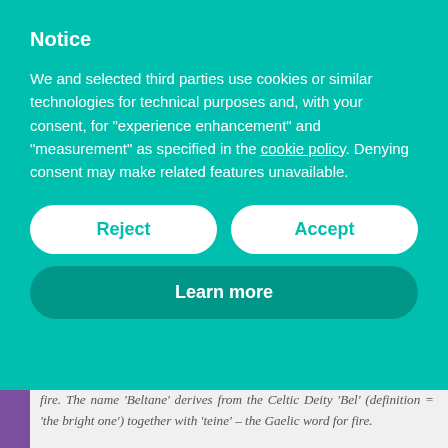Notice
We and selected third parties use cookies or similar technologies for technical purposes and, with your consent, for “experience enhancement” and “measurement” as specified in the cookie policy. Denying consent may make related features unavailable.
Reject
Accept
Learn more
ceremonies begin with people singing and dancing clockwise around the fire. The name ‘Beltane’ derives from the Celtic Deity ‘Bel’ (definition = ‘the bright one’) together with ‘teine’ – the Gaelic word for fire.
The combined meaning is 'Goodly Fire' or 'Bright Fire', hence bonfires were lit to encourage the Sun to nurture the forthcoming harvest and to honour Bel ask for his